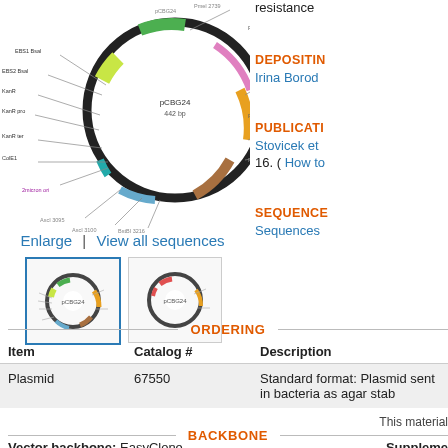[Figure (illustration): Circular plasmid map diagram with labeled features and color-coded regions]
Enlarge  |  View all sequences
[Figure (illustration): Small thumbnail of the plasmid map (selected, blue border)]
[Figure (illustration): Small thumbnail of the plasmid map (second view)]
resistance
DEPOSITING
Irina Borod
PUBLICATI
Stovicek et
16. ( How to
SEQUENCE
Sequences
ORDERING
| Item | Catalog # | Description |
| --- | --- | --- |
| Plasmid | 67550 | Standard format: Plasmid sent in bacteria as agar stab |
This material
BACKBONE
Vector backbone: EasyClone
Supplement